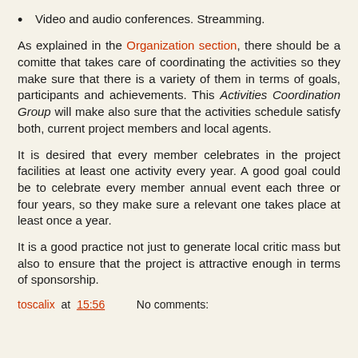Video and audio conferences. Streamming.
As explained in the Organization section, there should be a comitte that takes care of coordinating the activities so they make sure that there is a variety of them in terms of goals, participants and achievements. This Activities Coordination Group will make also sure that the activities schedule satisfy both, current project members and local agents.
It is desired that every member celebrates in the project facilities at least one activity every year. A good goal could be to celebrate every member annual event each three or four years, so they make sure a relevant one takes place at least once a year.
It is a good practice not just to generate local critic mass but also to ensure that the project is attractive enough in terms of sponsorship.
toscalix at 15:56    No comments: